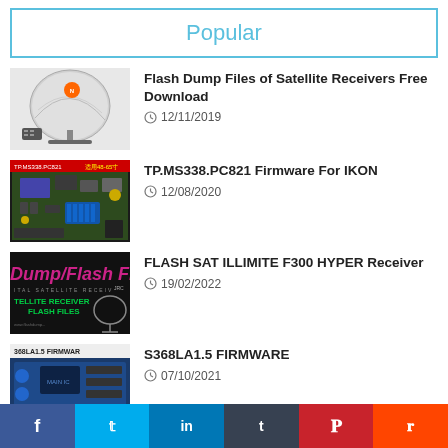Popular
Flash Dump Files of Satellite Receivers Free Download
12/11/2019
TP.MS338.PC821 Firmware For IKON
12/08/2020
FLASH SAT ILLIMITE F300 HYPER Receiver
19/02/2022
S368LA1.5 FIRMWARE
07/10/2021
[Figure (screenshot): Satellite dish with remote control]
[Figure (screenshot): TP.MS338.PC821 circuit board]
[Figure (screenshot): Dump/Flash File satellite receiver flash files banner]
[Figure (screenshot): S368LA1.5 firmware circuit board]